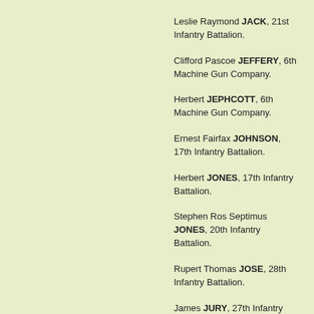Leslie Raymond JACK, 21st Infantry Battalion.
Clifford Pascoe JEFFERY, 6th Machine Gun Company.
Herbert JEPHCOTT, 6th Machine Gun Company.
Ernest Fairfax JOHNSON, 17th Infantry Battalion.
Herbert JONES, 17th Infantry Battalion.
Stephen Ros Septimus JONES, 20th Infantry Battalion.
Rupert Thomas JOSE, 28th Infantry Battalion.
James JURY, 27th Infantry Battalion.
William Jacob JUSTIN, 19th Infantry Battalion.
Cyrus Holmes KELLY, 17th